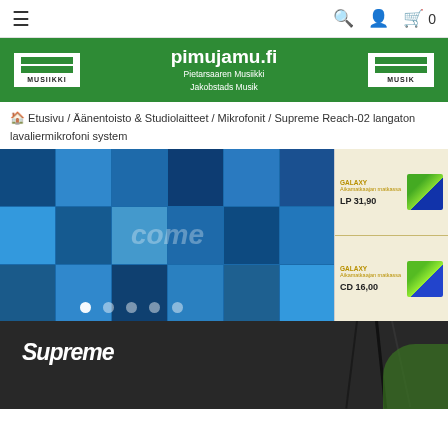Navigation bar with hamburger menu, search, user, cart (0)
[Figure (logo): pimujamu.fi - Pietarsaaren Musiikki / Jakobstads Musik logo on green banner with Musiikki and Musik logos on left and right]
🏠 Etusivu / Äänentoisto & Studiolaitteet / Mikrofonit / Supreme Reach-02 langaton lavaliermikrofoni system
[Figure (photo): Collage of band/music performance photos with blue tint, plus promotional items for LP 31,90 and CD 16,00 on right side]
[Figure (photo): Supreme brand product image - microphone/audio equipment on dark background with cable]